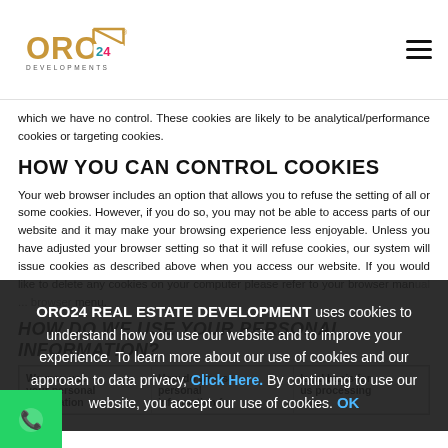ORO24 DEVELOPMENTS logo and navigation
which we have no control. These cookies are likely to be analytical/performance cookies or targeting cookies.
HOW YOU CAN CONTROL COOKIES
Your web browser includes an option that allows you to refuse the setting of all or some cookies. However, if you do so, you may not be able to access parts of our website and it may make your browsing experience less enjoyable. Unless you have adjusted your browser setting so that it will refuse cookies, our system will issue cookies as described above when you access our website. If you would like to delete any cookies on your computer please refer to your browser man... browser menu.
HOW DO WE USE YOUR PERSONAL INFORMATION?
| We may use your personal information | How do we use personal information for | legal basis for us processing your |
| --- | --- | --- |
ORO24 REAL ESTATE DEVELOPMENT uses cookies to understand how you use our website and to improve your experience. To learn more about our use of cookies and our approach to data privacy, Click Here. By continuing to use our website, you accept our use of cookies. OK